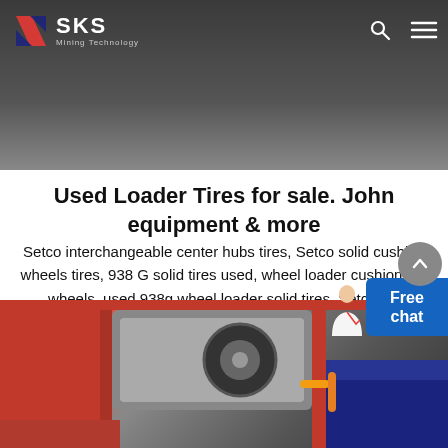[Figure (photo): Dark background header showing heavy equipment/loader with large tires. SKS Mining Technology logo top left with red S icon. Search and menu icons top right.]
Used Loader Tires for sale. John equipment & more
Setco interchangeable center hubs tires, Setco solid cushion wheels tires, 938 G solid tires used, wheel loader cushion tire wheels, used 938g wheel loader solid tires, Setco R,. Manufacturer: Model: 938G 4 used Setco solid tire wheels R, Setco wheels with interchangeable bolted hubs enables these wheels to fit different sized and brands of wheel.
[Figure (photo): Interior view of heavy equipment cab showing red frame structure, a large tire visible through window, blue seat/upholstery, and orange/yellow handle controls.]